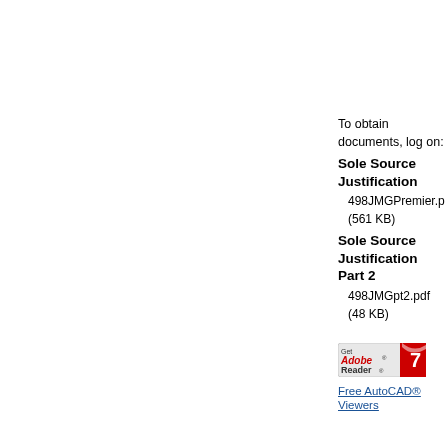To obtain documents, log on:
Sole Source Justification
498JMGPremier.pd (561 KB)
Sole Source Justification Part 2
498JMGpt2.pdf (48 KB)
[Figure (logo): Get Adobe Reader logo with red swoosh graphic]
Free AutoCAD® Viewers